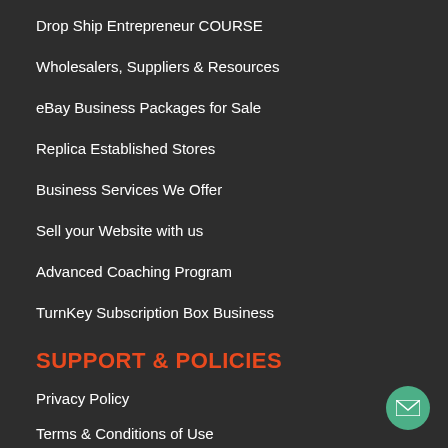Drop Ship Entrepreneur COURSE
Wholesalers, Suppliers & Resources
eBay Business Packages for Sale
Replica Established Stores
Business Services We Offer
Sell your Website with us
Advanced Coaching Program
TurnKey Subscription Box Business
SUPPORT & POLICIES
Privacy Policy
Terms & Conditions of Use